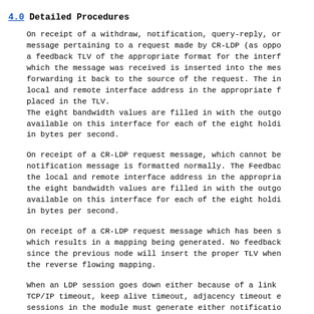4.0 Detailed Procedures
On receipt of a withdraw, notification, query-reply, or message pertaining to a request made by CR-LDP (as oppo a feedback TLV of the appropriate format for the interf which the message was received is inserted into the mes forwarding it back to the source of the request. The in local and remote interface address in the appropriate f placed in the TLV.
The eight bandwidth values are filled in with the outgo available on this interface for each of the eight holdi in bytes per second.
On receipt of a CR-LDP request message, which cannot be notification message is formatted normally. The Feedbac the local and remote interface address in the appropria the eight bandwidth values are filled in with the outgo available on this interface for each of the eight holdi in bytes per second.
On receipt of a CR-LDP request message which has been s which results in a mapping being generated. No feedback since the previous node will insert the proper TLV when the reverse flowing mapping.
When an LDP session goes down either because of a link TCP/IP timeout, keep alive timeout, adjacency timeout e sessions in the module must generate either notificatio or release messages for LSPs that traversed the LDP in